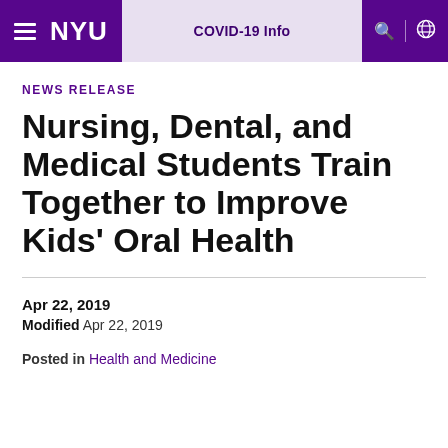NYU | COVID-19 Info
NEWS RELEASE
Nursing, Dental, and Medical Students Train Together to Improve Kids' Oral Health
Apr 22, 2019
Modified Apr 22, 2019
Posted in Health and Medicine